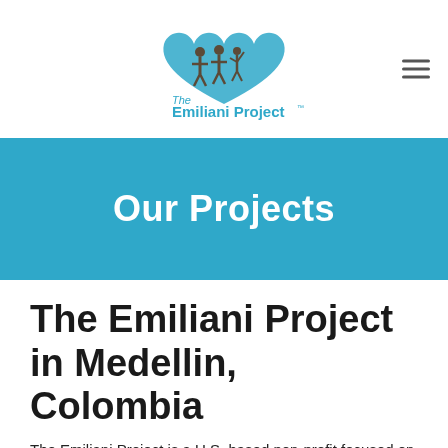[Figure (logo): The Emiliani Project logo with heart icon and figures of adults and child, teal/blue and brown color scheme]
Our Projects
The Emiliani Project in Medellin, Colombia
The Emiliani Project is a U.S. based non-profit focused on the rescue and care of orphaned and